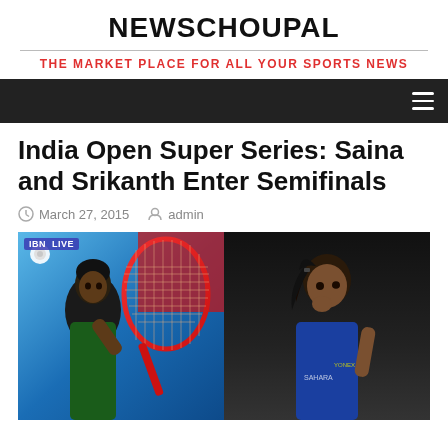NEWSCHOUPAL
THE MARKET PLACE FOR ALL YOUR SPORTS NEWS
India Open Super Series: Saina and Srikanth Enter Semifinals
March 27, 2015   admin
[Figure (photo): Two badminton players side by side: Srikanth (left) with racket in blue background; Saina Nehwal (right) in blue jersey on dark background]